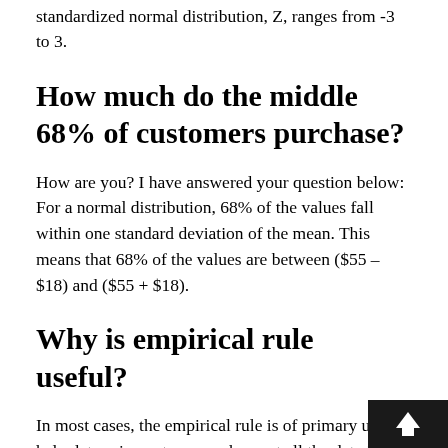standardized normal distribution, Z, ranges from -3 to 3.
How much do the middle 68% of customers purchase?
How are you? I have answered your question below: For a normal distribution, 68% of the values fall within one standard deviation of the mean. This means that 68% of the values are between ($55 – $18) and ($55 + $18).
Why is empirical rule useful?
In most cases, the empirical rule is of primary use to help determine outcomes when not all the data is available. It allows statisticians – or those studying the data – to gain insight into where the data will fall, once all is available. The empirical rule also helps to test